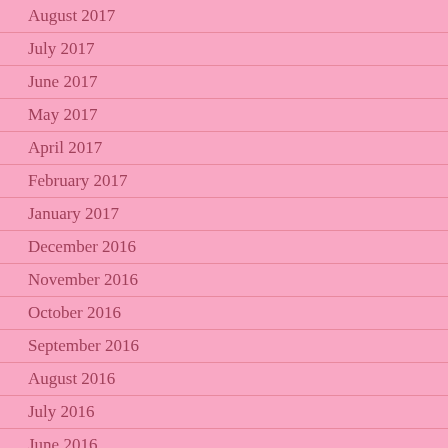August 2017
July 2017
June 2017
May 2017
April 2017
February 2017
January 2017
December 2016
November 2016
October 2016
September 2016
August 2016
July 2016
June 2016
May 2016
April 2016